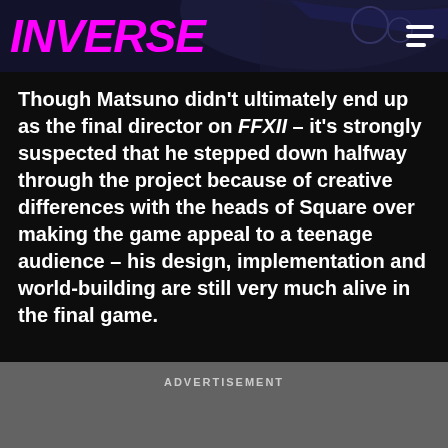[Figure (screenshot): Inverse website header with dark blue background, partial game controller graphic, and small text]
INVERSE
Though Matsuno didn't ultimately end up as the final director on FFXII – it's strongly suspected that he stepped down halfway through the project because of creative differences with the heads of Square over making the game appeal to a teenage audience – his design, implementation and world-building are still very much alive in the final game.
ADVERTISEMENT